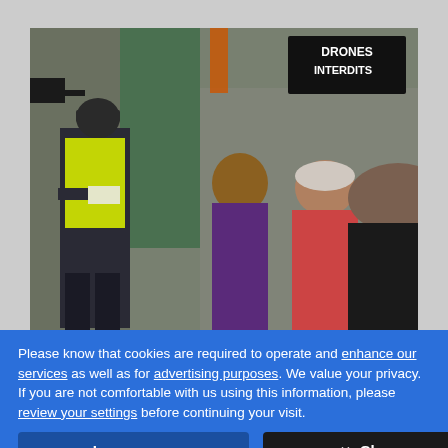[Figure (photo): Outdoor scene showing a police officer in a yellow high-visibility vest holding papers, standing in front of several seated protesters or attendees. A sign reading 'DRONES INTERDITS' (Drones Prohibited) is visible on a fence or building in the background.]
Please know that cookies are required to operate and enhance our services as well as for advertising purposes. We value your privacy. If you are not comfortable with us using this information, please review your settings before continuing your visit.
Learn more
✕ Close